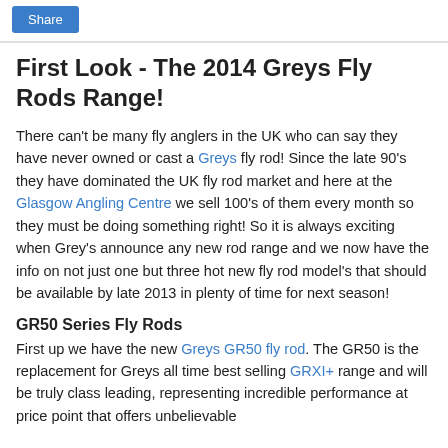Share
First Look - The 2014 Greys Fly Rods Range!
There can't be many fly anglers in the UK who can say they have never owned or cast a Greys fly rod! Since the late 90's they have dominated the UK fly rod market and here at the Glasgow Angling Centre we sell 100's of them every month so they must be doing something right! So it is always exciting when Grey's announce any new rod range and we now have the info on not just one but three hot new fly rod model's that should be available by late 2013 in plenty of time for next season!
GR50 Series Fly Rods
First up we have the new Greys GR50 fly rod. The GR50 is the replacement for Greys all time best selling GRXI+ range and will be truly class leading, representing incredible performance at price point that offers unbelievable